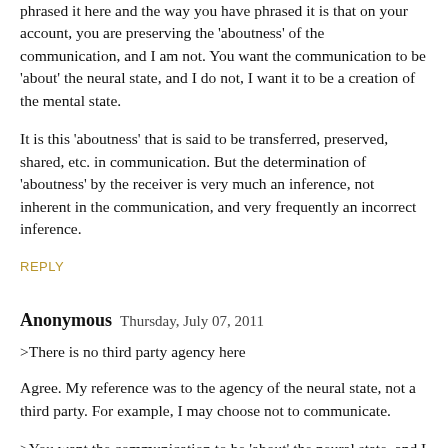phrased it here and the way you have phrased it is that on your account, you are preserving the 'aboutness' of the communication, and I am not. You want the communication to be 'about' the neural state, and I do not, I want it to be a creation of the mental state.
It is this 'aboutness' that is said to be transferred, preserved, shared, etc. in communication. But the determination of 'aboutness' by the receiver is very much an inference, not inherent in the communication, and very frequently an incorrect inference.
REPLY
Anonymous  Thursday, July 07, 2011
>There is no third party agency here
Agree. My reference was to the agency of the neural state, not a third party. For example, I may choose not to communicate.
>You want the communication to be 'about' the neural state, and I do not, I want it to be a